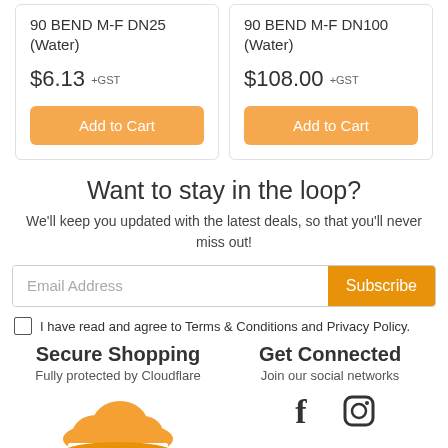90 BEND M-F DN25 (Water)
$6.13 +GST
Add to Cart
90 BEND M-F DN100 (Water)
$108.00 +GST
Add to Cart
Want to stay in the loop?
We'll keep you updated with the latest deals, so that you'll never miss out!
Email Address
Subscribe
I have read and agree to Terms & Conditions and Privacy Policy.
Secure Shopping
Fully protected by Cloudflare
Get Connected
Join our social networks